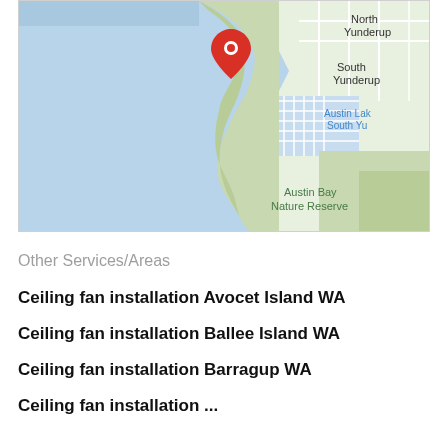[Figure (map): Google Maps view showing a coastal area with water (blue), land (green/white), and place labels: North Yunderup, South Yunderup, Austin Lake South Yu (partially visible), Austin Bay Nature Reserve. A red location pin marker is placed near the top-center of the map over a green peninsula.]
Other Services/Areas
Ceiling fan installation Avocet Island WA
Ceiling fan installation Ballee Island WA
Ceiling fan installation Barragup WA
Ceiling fan installation ...